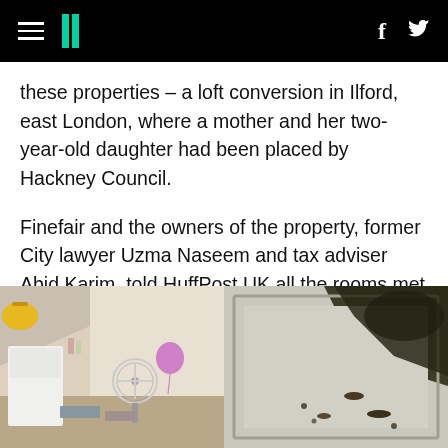HuffPost UK — navigation header with hamburger menu, logo, Facebook and Twitter icons
these properties – a loft conversion in Ilford, east London, where a mother and her two-year-old daughter had been placed by Hackney Council.
Finefair and the owners of the property, former City lawyer Uzma Naseem and tax adviser Abid Karim, told HuffPost UK all the rooms met space standards set by the government and said any complaints of pest infestation were responded to within 24 hours.
[Figure (photo): Left photo showing a cluttered loft conversion room with a fan, a pink balloon, yellow bag, and various items on a white appliance.]
[Figure (photo): Right photo showing a close-up of a surface with dark mold/staining and what appear to be insect droppings or dead insects.]